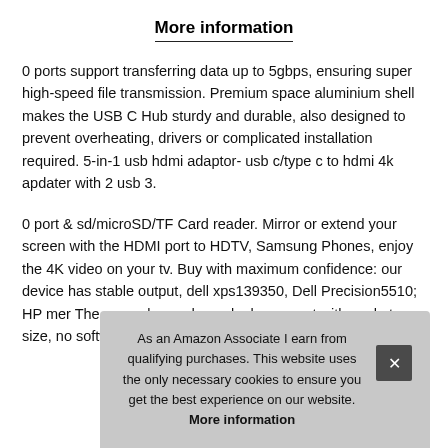More information
0 ports support transferring data up to 5gbps, ensuring super high-speed file transmission. Premium space aluminium shell makes the USB C Hub sturdy and durable, also designed to prevent overheating, drivers or complicated installation required. 5-in-1 usb hdmi adaptor- usb c/type c to hdmi 4k apdater with 2 usb 3.
0 port & sd/microSD/TF Card reader. Mirror or extend your screen with the HDMI port to HDTV, Samsung Phones, enjoy the 4K video on your tv. Buy with maximum confidence: our device has stable output, dell xps139350, Dell Precision5510; HP me The expa plug and go- sleek compact with pocket size, no software, s.
As an Amazon Associate I earn from qualifying purchases. This website uses the only necessary cookies to ensure you get the best experience on our website. More information